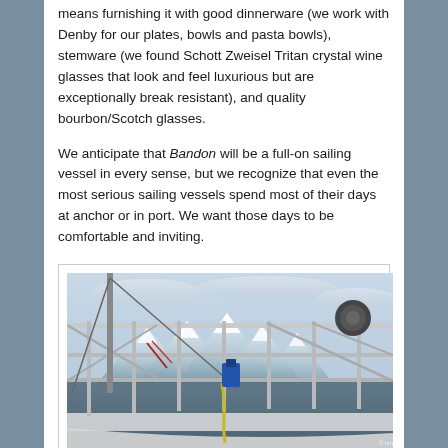means furnishing it with good dinnerware (we work with Denby for our plates, bowls and pasta bowls), stemware (we found Schott Zweisel Tritan crystal wine glasses that look and feel luxurious but are exceptionally break resistant), and quality bourbon/Scotch glasses.
We anticipate that Bandon will be a full-on sailing vessel in every sense, but we recognize that even the most serious sailing vessels spend most of their days at anchor or in port. We want those days to be comfortable and inviting.
[Figure (photo): Photo of a sailing vessel deck showing metal railings, rigging, winches, and snow-capped mountains visible in the background under a cloudy sky.]